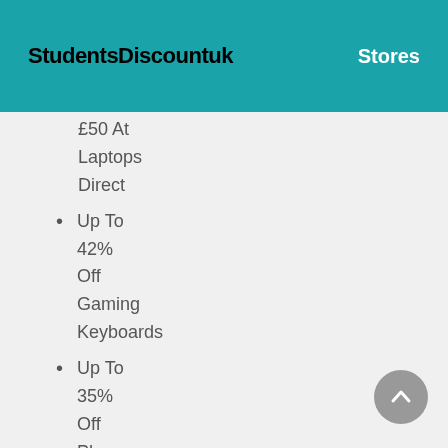StudentsDiscountuk    Stores
£50 At Laptops Direct
Up To 42% Off Gaming Keyboards
Up To 35% Off Phones At Laptops Direct